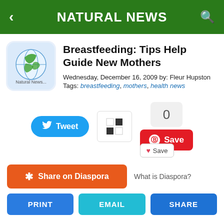NATURAL NEWS
[Figure (logo): Natural News globe logo with green leaves]
Breastfeeding: Tips Help Guide New Mothers
Wednesday, December 16, 2009 by: Fleur Hupston
Tags: breastfeeding, mothers, health news
[Figure (screenshot): Social share buttons: Tweet, StumbleUpon, Save, Pinterest Save (0 count), Share on Diaspora, What is Diaspora?, PRINT, EMAIL, SHARE buttons]
[Figure (infographic): Premium Manuka Honey advertisement: PREMIUM MANUKA HONEY is finally BACK IN STOCK at the HRS! Harvested from Australia's pristine bushlands and. Made in Australia from 100% Australian ingredients badge.]